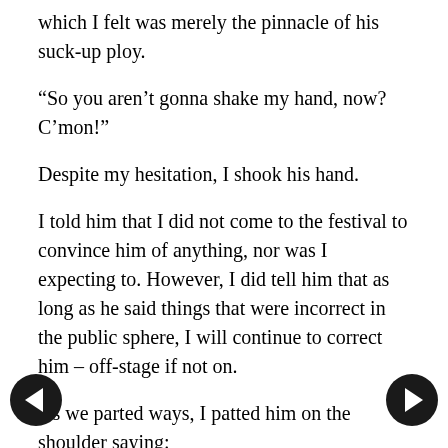which I felt was merely the pinnacle of his suck-up ploy.
“So you aren’t gonna shake my hand, now? C’mon!”
Despite my hesitation, I shook his hand.
I told him that I did not come to the festival to convince him of anything, nor was I expecting to. However, I did tell him that as long as he said things that were incorrect in the public sphere, I will continue to correct him – offstage if not on.
As we parted ways, I patted him on the shoulder saying:
“Say hi to your Uncle Bob for me.”
He didn’t appreciate the reference.